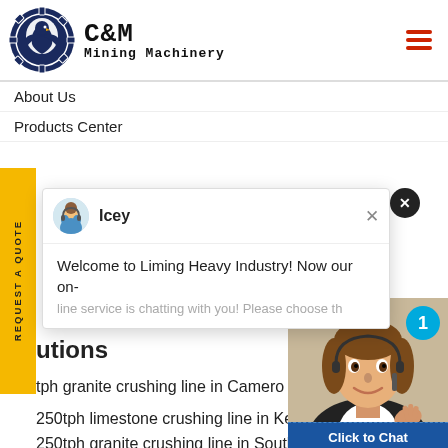[Figure (logo): C&M Mining Machinery logo with eagle/gear icon and text]
About Us
Products Center
Icey
Welcome to Liming Heavy Industry! Now our on-line service is chatting with you! Please choose th...
utions
tph granite crushing line in Cameroon
250tph limestone crushing line in Kenya
250tph granite crushing line in South Africa
[Figure (photo): Customer service representative wearing headset, smiling]
Click to Chat
Enquiry